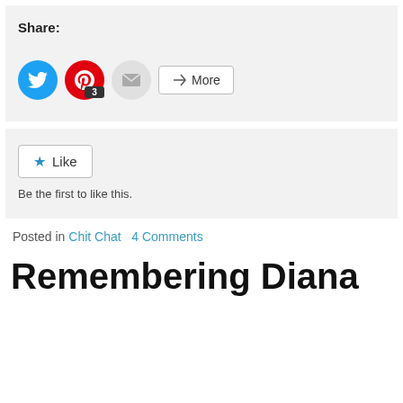Share:
[Figure (infographic): Social share buttons: Twitter (blue circle), Pinterest (red circle with badge '3'), Email (grey circle), and a 'More' button]
[Figure (infographic): WordPress Like button with blue star icon and text 'Be the first to like this.']
Posted in Chit Chat   4 Comments
Remembering Diana